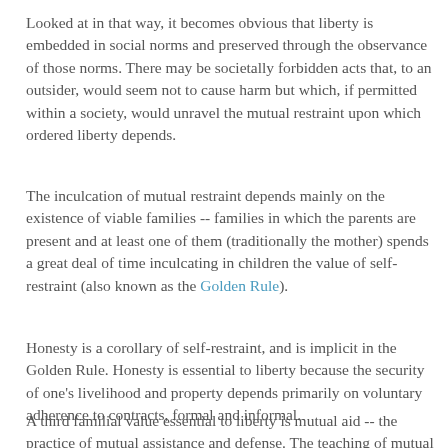Looked at in that way, it becomes obvious that liberty is embedded in social norms and preserved through the observance of those norms. There may be societally forbidden acts that, to an outsider, would seem not to cause harm but which, if permitted within a society, would unravel the mutual restraint upon which ordered liberty depends.
The inculcation of mutual restraint depends mainly on the existence of viable families -- families in which the parents are present and at least one of them (traditionally the mother) spends a great deal of time inculcating in children the value of self-restraint (also known as the Golden Rule).
Honesty is a corollary of self-restraint, and is implicit in the Golden Rule. Honesty is essential to liberty because the security of one's livelihood and property depends primarily on voluntary adherence to contracts, formal and informal.
A third familial value essential to liberty is mutual aid -- the practice of mutual assistance and defense. The teaching of mutual aid at home spills over into the community. As I wrote